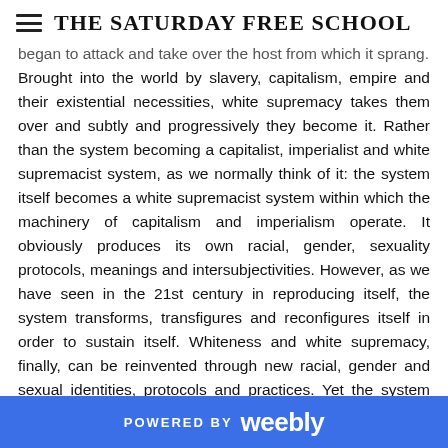THE SATURDAY FREE SCHOOL
began to attack and take over the host from which it sprang. Brought into the world by slavery, capitalism, empire and their existential necessities, white supremacy takes them over and subtly and progressively they become it. Rather than the system becoming a capitalist, imperialist and white supremacist system, as we normally think of it: the system itself becomes a white supremacist system within which the machinery of capitalism and imperialism operate. It obviously produces its own racial, gender, sexuality protocols, meanings and intersubjectivities. However, as we have seen in the 21st century in reproducing itself, the system transforms, transfigures and reconfigures itself in order to sustain itself. Whiteness and white supremacy, finally, can be reinvented through new racial, gender and sexual identities, protocols and practices. Yet the system remains what it is. A “revolution” thereby could overturn capitalism, and its earlier identity practices without substantively
POWERED BY weebly